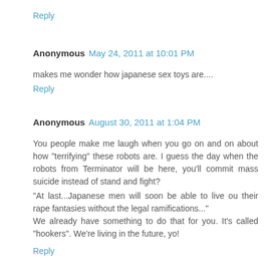Reply
Anonymous  May 24, 2011 at 10:01 PM
makes me wonder how japanese sex toys are....
Reply
Anonymous  August 30, 2011 at 1:04 PM
You people make me laugh when you go on and on about how "terrifying" these robots are. I guess the day when the robots from Terminator will be here, you'll commit mass suicide instead of stand and fight?

"At last...Japanese men will soon be able to live ou their rape fantasies without the legal ramifications..."
We already have something to do that for you. It's called "hookers". We're living in the future, yo!
Reply